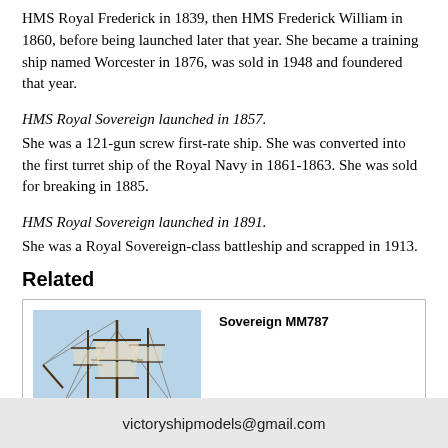HMS Royal Frederick in 1839, then HMS Frederick William in 1860, before being launched later that year. She became a training ship named Worcester in 1876, was sold in 1948 and foundered that year.
HMS Royal Sovereign launched in 1857. She was a 121-gun screw first-rate ship. She was converted into the first turret ship of the Royal Navy in 1861-1863. She was sold for breaking in 1885.
HMS Royal Sovereign launched in 1891. She was a Royal Sovereign-class battleship and scrapped in 1913.
Related
[Figure (photo): Model of a tall ship sailing vessel labeled Sovereign MM787, shown at an angle with masts, rigging, and flags visible.]
victoryshipmodels@gmail.com